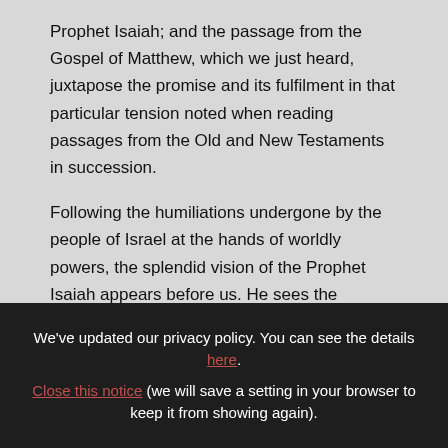Prophet Isaiah; and the passage from the Gospel of Matthew, which we just heard, juxtapose the promise and its fulfilment in that particular tension noted when reading passages from the Old and New Testaments in succession.
Following the humiliations undergone by the people of Israel at the hands of worldly powers, the splendid vision of the Prophet Isaiah appears before us. He sees the moment
We've updated our privacy policy. You can see the details here.
Close this notice (we will save a setting in your browser to keep it from showing again).